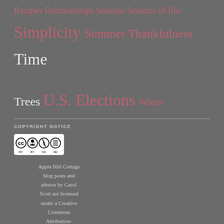Recipes Relationships Seasons Seasons of life Simplicity Summer Thankfulness Time Trees U.S. Elections Winter
COPYRIGHT NOTICE
[Figure (logo): Creative Commons BY NC ND license badge]
Apple Hill Cottage blog posts and photos by Carol Scott are licensed under a Creative Commons Attribution-